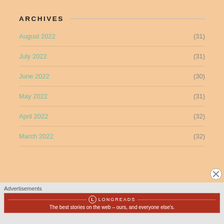ARCHIVES
August 2022 (31)
July 2022 (31)
June 2022 (30)
May 2022 (31)
April 2022 (32)
March 2022 (32)
Advertisements
[Figure (other): Longreads advertisement banner: red background with Longreads logo and tagline 'The best stories on the web — ours, and everyone else's.']